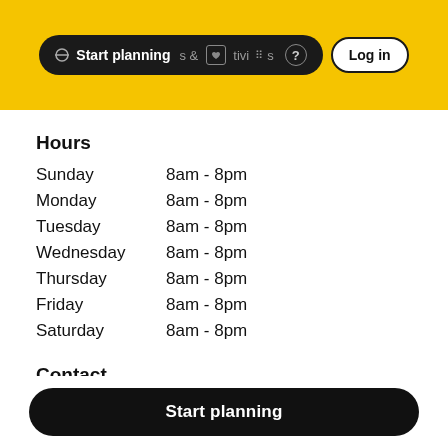Start planning | & tivities | ? | Log in
Hours
| Day | Hours |
| --- | --- |
| Sunday | 8am - 8pm |
| Monday | 8am - 8pm |
| Tuesday | 8am - 8pm |
| Wednesday | 8am - 8pm |
| Thursday | 8am - 8pm |
| Friday | 8am - 8pm |
| Saturday | 8am - 8pm |
Contact
1740 Taughannock Blvd, Trumansburg, NY 14886
Start planning